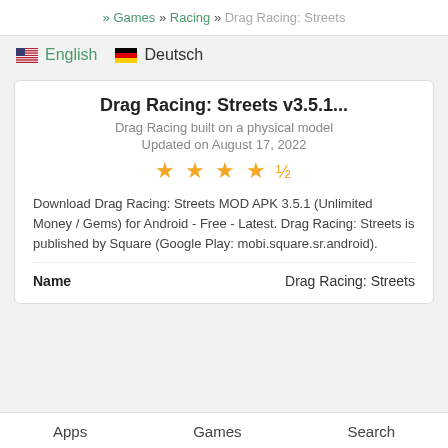» Games » Racing » Drag Racing: Streets
🇺🇸 English  🇩🇪 Deutsch
Drag Racing: Streets v3.5.1...
Drag Racing built on a physical model
Updated on August 17, 2022
★★★★½ (stars rating)
Download Drag Racing: Streets MOD APK 3.5.1 (Unlimited Money / Gems) for Android - Free - Latest. Drag Racing: Streets is published by Square (Google Play: mobi.square.sr.android).
| Name |  |
| --- | --- |
| Name | Drag Racing: Streets |
Apps   Games   Search